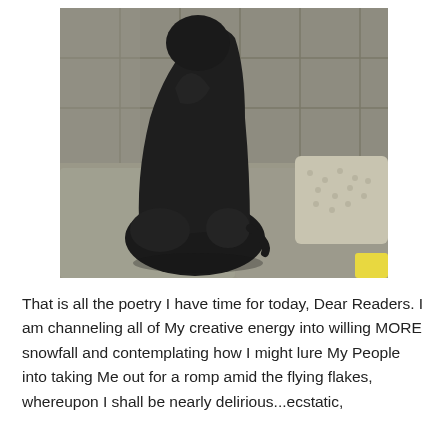[Figure (photo): A black dog sitting on a gray upholstered sofa/couch, facing away from the camera. The dog's back and haunches are visible. A textured light beige/gray throw pillow is visible to the right side of the dog. A yellow object is partially visible at the bottom right corner. The sofa has a tufted back.]
That is all the poetry I have time for today, Dear Readers. I am channeling all of My creative energy into willing MORE snowfall and contemplating how I might lure My People into taking Me out for a romp amid the flying flakes, whereupon I shall be nearly delirious...ecstatic,